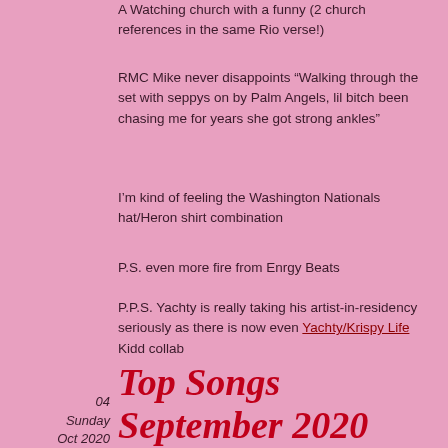A Watching church with a funny (2 church references in the same Rio verse!)
RMC Mike never disappoints “Walking through the set with seppys on by Palm Angels, lil bitch been chasing me for years she got strong ankles”
I’m kind of feeling the Washington Nationals hat/Heron shirt combination
P.S. even more fire from Enrgy Beats
P.P.S. Yachty is really taking his artist-in-residency seriously as there is now even Yachty/Krispy Life Kidd collab
04 Sunday Oct 2020
Top Songs September 2020